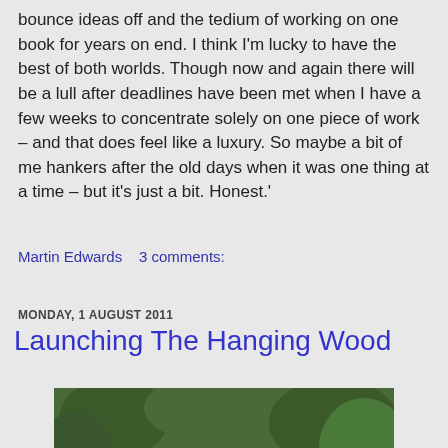bounce ideas off and the tedium of working on one book for years on end. I think I'm lucky to have the best of both worlds. Though now and again there will be a lull after deadlines have been met when I have a few weeks to concentrate solely on one piece of work – and that does feel like a luxury. So maybe a bit of me hankers after the old days when it was one thing at a time – but it's just a bit. Honest.'
Martin Edwards    3 comments:
MONDAY, 1 AUGUST 2011
Launching The Hanging Wood
[Figure (photo): A stone pillar or gatepost with a grey sign reading 'Gladstone's Library', surrounded by green foliage and ivy.]